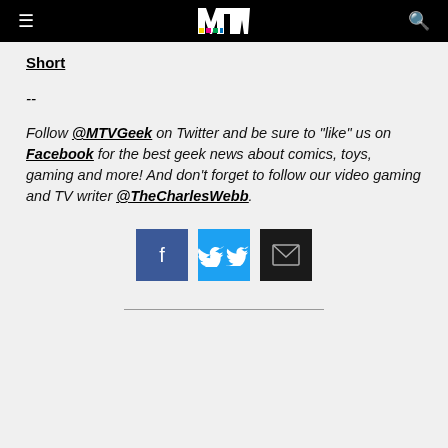MTV
Short
--
Follow @MTVGeek on Twitter and be sure to "like" us on Facebook for the best geek news about comics, toys, gaming and more! And don't forget to follow our video gaming and TV writer @TheCharlesWebb.
[Figure (infographic): Three social share buttons: Facebook (blue), Twitter (cyan), Email (dark/black)]